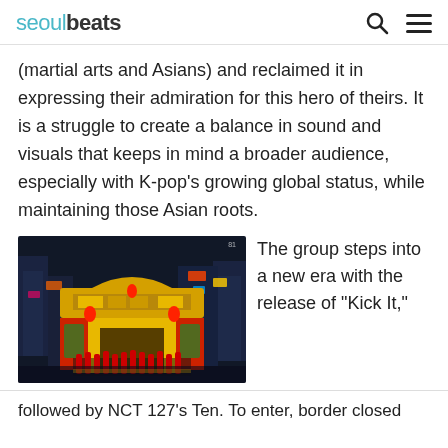seoulbeats
(martial arts and Asians) and reclaimed it in expressing their admiration for this hero of theirs. It is a struggle to create a balance in sound and visuals that keeps in mind a broader audience, especially with K-pop's growing global status, while maintaining those Asian roots.
[Figure (photo): K-pop group performing in front of a illuminated Chinese-style gate/arch at night, performers wearing red jackets]
The group steps into a new era with the release of "Kick It,"
followed by NCT 127's Ten. To enter, border closed